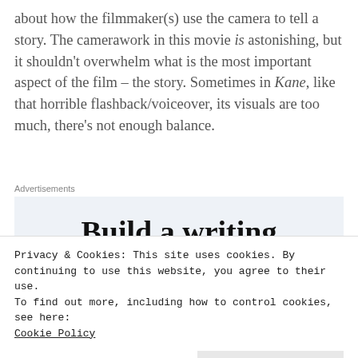about how the filmmaker(s) use the camera to tell a story. The camerawork in this movie is astonishing, but it shouldn't overwhelm what is the most important aspect of the film – the story. Sometimes in Kane, like that horrible flashback/voiceover, its visuals are too much, there's not enough balance.
Advertisements
[Figure (other): Advertisement banner showing text 'Build a writing habit. Post on' on a light blue background]
Privacy & Cookies: This site uses cookies. By continuing to use this website, you agree to their use.
To find out more, including how to control cookies, see here:
Cookie Policy
Close and accept